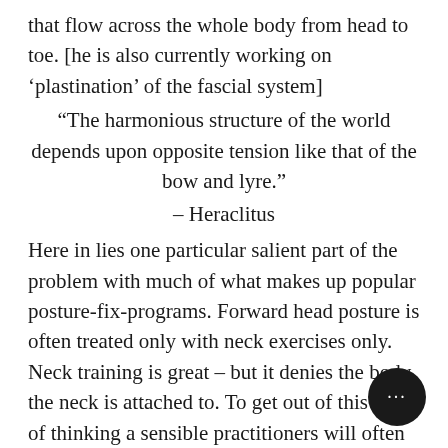that flow across the whole body from head to toe. [he is also currently working on 'plastination' of the fascial system]
“The harmonious structure of the world depends upon opposite tension like that of the bow and lyre.”
– Heraclitus
Here in lies one particular salient part of the problem with much of what makes up popular posture-fix-programs. Forward head posture is often treated only with neck exercises only. Neck training is great – but it denies the body the neck is attached to. To get out of this way of thinking a sensible practitioners will often go with a local/global/local approach. Identify what the problem might be on a local level, to see what is going on with the whole, and work that out – before returning to the
[Figure (other): Chat/messaging icon button: black circle with white ellipsis (three dots) representing a chat bubble, positioned in bottom-right corner]